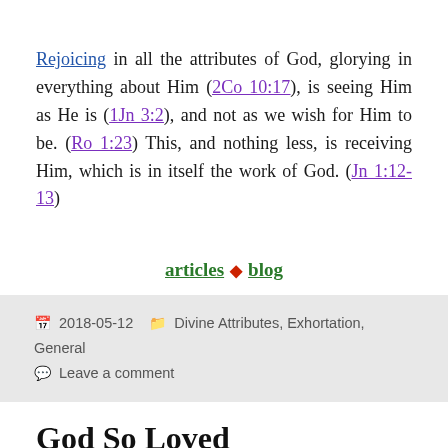Rejoicing in all the attributes of God, glorying in everything about Him (2Co 10:17), is seeing Him as He is (1Jn 3:2), and not as we wish for Him to be. (Ro 1:23) This, and nothing less, is receiving Him, which is in itself the work of God. (Jn 1:12-13)
articles ♦ blog
2018-05-12   Divine Attributes, Exhortation, General
Leave a comment
God So Loved
I was taught, and I've believed for a long time now, that truth is more important than people, that principle is more important than relationship. But